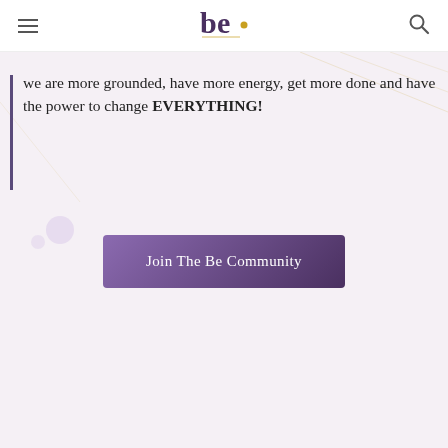be. (logo)
we are more grounded, have more energy, get more done and have the power to change EVERYTHING!
[Figure (other): Purple 'Join The Be Community' call-to-action button]